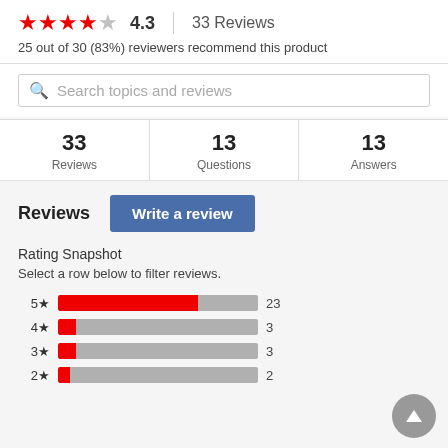4.3 | 33 Reviews
25 out of 30 (83%) reviewers recommend this product
Search topics and reviews
| Reviews | Questions | Answers |
| --- | --- | --- |
| 33 | 13 | 13 |
Reviews
Write a review
Rating Snapshot
Select a row below to filter reviews.
[Figure (bar-chart): Rating Snapshot]